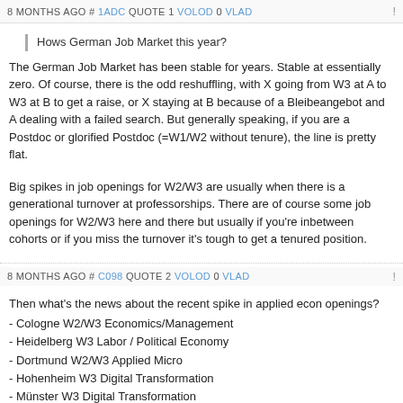8 MONTHS AGO # 1ADC QUOTE 1 VOLOD 0 VLAD !
Hows German Job Market this year?
The German Job Market has been stable for years. Stable at essentially zero. Of course, there is the odd reshuffling, with X going from W3 at A to W3 at B to get a raise, or X staying at B because of a Bleibeangebot and A dealing with a failed search. But generally speaking, if you are a Postdoc or glorified Postdoc (=W1/W2 without tenure), the line is pretty flat.
Big spikes in job openings for W2/W3 are usually when there is a generational turnover at professorships. There are of course some job openings for W2/W3 here and there but usually if you're inbetween cohorts or if you miss the turnover it's tough to get a tenured position.
8 MONTHS AGO # C098 QUOTE 2 VOLOD 0 VLAD !
Then what's the news about the recent spike in applied econ openings?
- Cologne W2/W3 Economics/Management
- Heidelberg W3 Labor / Political Economy
- Dortmund W2/W3 Applied Micro
- Hohenheim W3 Digital Transformation
- Münster W3 Digital Transformation